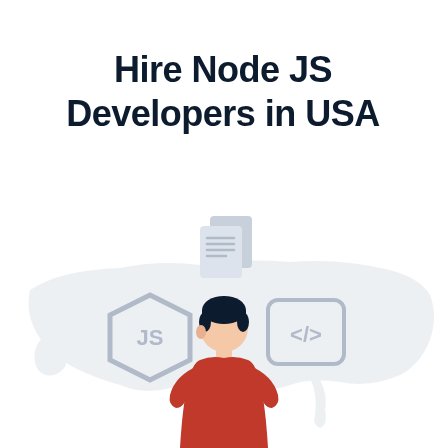Hire Node JS Developers in USA
[Figure (illustration): Illustration of a person (male figure with dark hair wearing a red shirt) seated, flanked by a Node.js hexagon logo on the left, a code bracket icon on the right, and a document/file icon above. A faint outline map of the USA forms the background.]